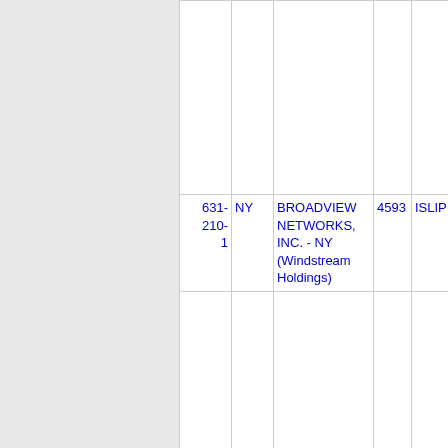| Phone | State | Company | CLLI | City |
| --- | --- | --- | --- | --- |
| 631-210-1 | NY | BROADVIEW NETWORKS, INC. - NY (Windstream Holdings) | 4593 | ISLIP |